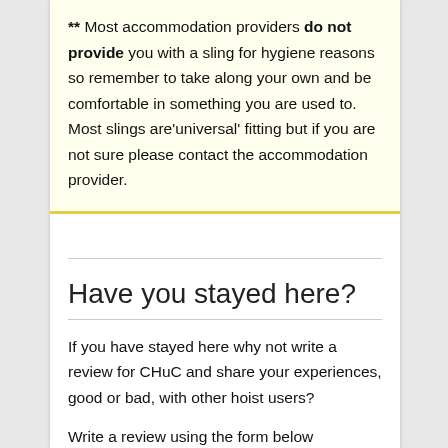** Most accommodation providers do not provide you with a sling for hygiene reasons so remember to take along your own and be comfortable in something you are used to. Most slings are'universal' fitting but if you are not sure please contact the accommodation provider.
Have you stayed here?
If you have stayed here why not write a review for CHuC and share your experiences, good or bad, with other hoist users?
Write a review using the form below